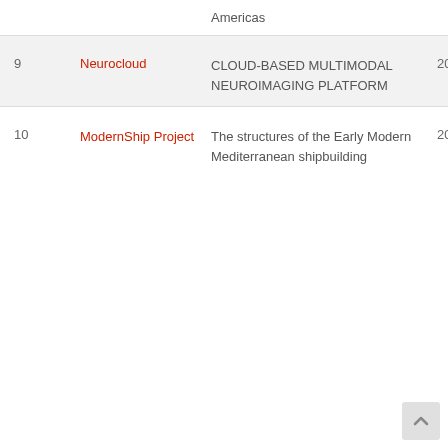| # | Name | Description | Year |
| --- | --- | --- | --- |
|  | Americas |  |  |
| 9 | Neurocloud | CLOUD-BASED MULTIMODAL NEUROIMAGING PLATFORM | 2018 |
| 10 | ModernShip Project | The structures of the Early Modern Mediterranean shipbuilding | 2019 |